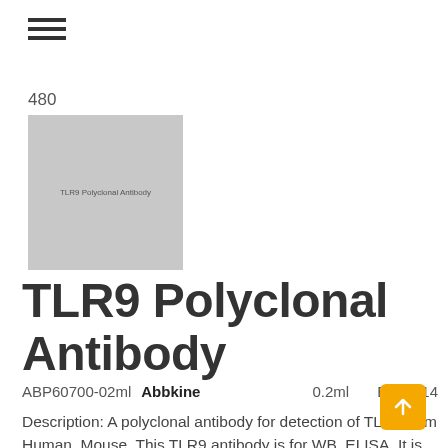≡
480
[Figure (photo): Product image placeholder showing text 'TLR9 Polyclonal Antibody' on grey background]
TLR9 Polyclonal Antibody
ABP60700-02ml   Abbkine   0.2ml   EUR 414
Description: A polyclonal antibody for detection of TLR9 from Human, Mouse. This TLR9 antibody is for WB, ELISA. It is affinity-purified from rabbit serum by affinity-chromatography using the specific immunogenand is unconjugated. The antibody is produced in rabbit by using as an immunogen